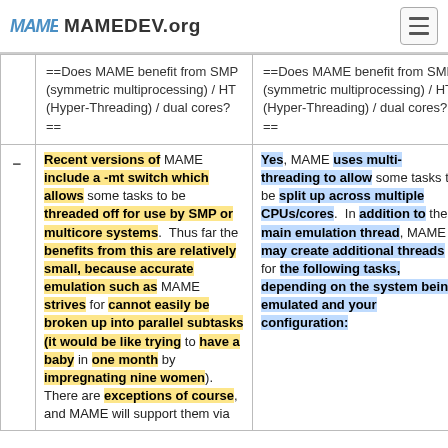MAME MAMEDEV.org
|  | ==Does MAME benefit from SMP (symmetric multiprocessing) / HT (Hyper-Threading) / dual cores?== | ==Does MAME benefit from SMP (symmetric multiprocessing) / HT (Hyper-Threading) / dual cores?== |  |
| --- | --- | --- | --- |
| − | Recent versions of MAME include a -mt switch which allows some tasks to be threaded off for use by SMP or multicore systems. Thus far the benefits from this are relatively small, because accurate emulation such as MAME strives for cannot easily be broken up into parallel subtasks (it would be like trying to have a baby in one month by impregnating nine women). There are exceptions of course, and MAME will support them via | + | Yes, MAME uses multi-threading to allow some tasks to be split up across multiple CPUs/cores. In addition to the main emulation thread, MAME may create additional threads for the following tasks, depending on the system being emulated and your configuration: |